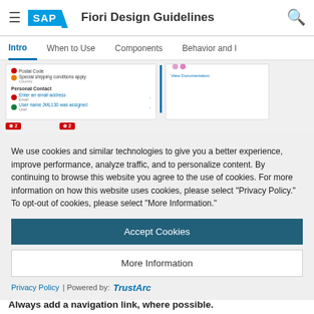SAP Fiori Design Guidelines
Intro | When to Use | Components | Behavior and I
[Figure (screenshot): Screenshot of an SAP Fiori form with error and warning icons, showing fields like Postal Code, Special shipping conditions apply, Country, Personal Contact, email, and User. Red error badges showing '2' at bottom of panels. Pink/purple progress dots visible at top.]
We use cookies and similar technologies to give you a better experience, improve performance, analyze traffic, and to personalize content. By continuing to browse this website you agree to the use of cookies. For more information on how this website uses cookies, please select “Privacy Policy.” To opt-out of cookies, please select “More Information.”
Accept Cookies
More Information
Privacy Policy | Powered by:  TrustArc
Always add a navigation link, where possible.